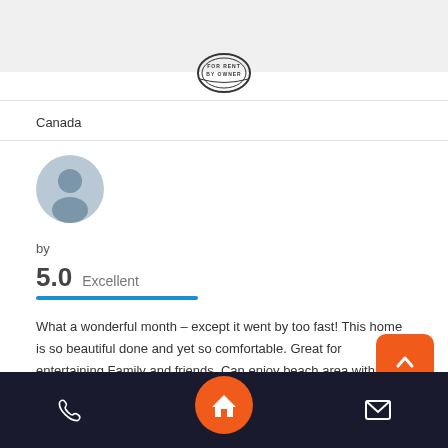[Figure (logo): Circular stamp logo with text 'BY OWNER']
Canada
[Figure (illustration): Default user avatar: grey circle with person silhouette]
by
5.0  Excellent
What a wonderful month – except it went by too fast! This home is so beautiful done and yet so comfortable. Great for entertaining Family and friends. Can enjoy beach area within a short walk or relaxing on patio by canal and watch for the dolphins to...